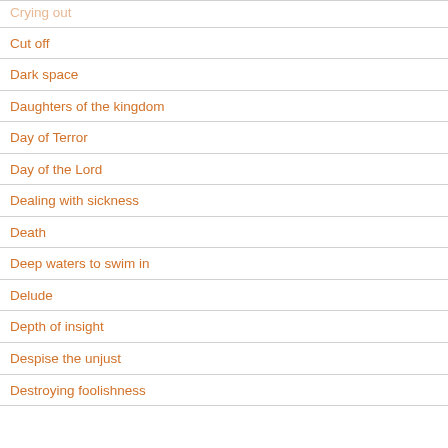Crying out
Cut off
Dark space
Daughters of the kingdom
Day of Terror
Day of the Lord
Dealing with sickness
Death
Deep waters to swim in
Delude
Depth of insight
Despise the unjust
Destroying foolishness